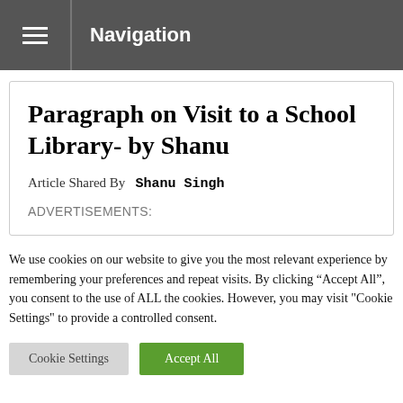Navigation
Paragraph on Visit to a School Library- by Shanu
Article Shared By   Shanu Singh
ADVERTISEMENTS:
We use cookies on our website to give you the most relevant experience by remembering your preferences and repeat visits. By clicking “Accept All”, you consent to the use of ALL the cookies. However, you may visit "Cookie Settings" to provide a controlled consent.